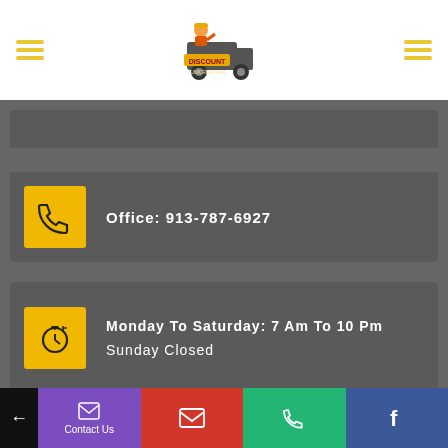[Figure (logo): Discount Junk Removal logo with cartoon characters]
Office: 913-787-6927
Monday To Saturday: 7 Am To 10 Pm
Sunday Closed
Contact Us